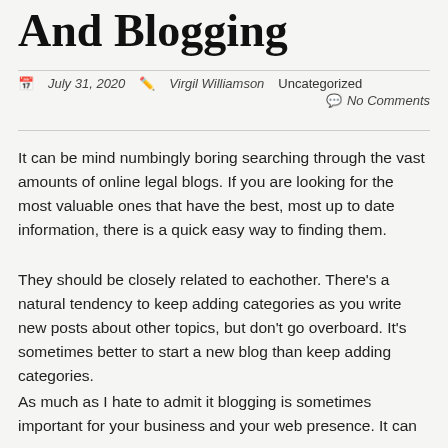And Blogging
July 31, 2020  Virgil Williamson  Uncategorized  No Comments
It can be mind numbingly boring searching through the vast amounts of online legal blogs. If you are looking for the most valuable ones that have the best, most up to date information, there is a quick easy way to finding them.
They should be closely related to eachother. There's a natural tendency to keep adding categories as you write new posts about other topics, but don't go overboard. It's sometimes better to start a new blog than keep adding categories.
As much as I hate to admit it blogging is sometimes important for your business and your web presence. It can